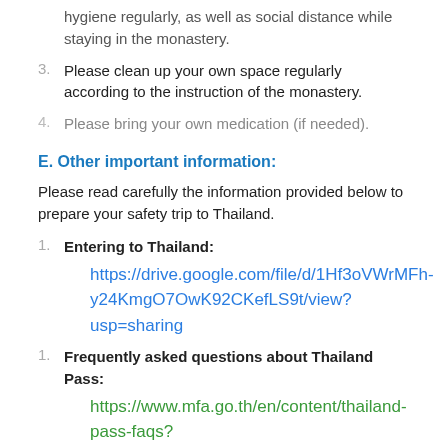hygiene regularly, as well as social distance while staying in the monastery.
3. Please clean up your own space regularly according to the instruction of the monastery.
4. Please bring your own medication (if needed).
E. Other important information:
Please read carefully the information provided below to prepare your safety trip to Thailand.
1. Entering to Thailand:
https://drive.google.com/file/d/1Hf3oVWrMFh-y24KmgO7OwK92CKefLS9t/view?usp=sharing
1. Frequently asked questions about Thailand Pass:
https://www.mfa.go.th/en/content/thailand-pass-faqs?page=5f22514b78568958aa0d5b85&menu=5d5bd3cb15e39c306002a9b9